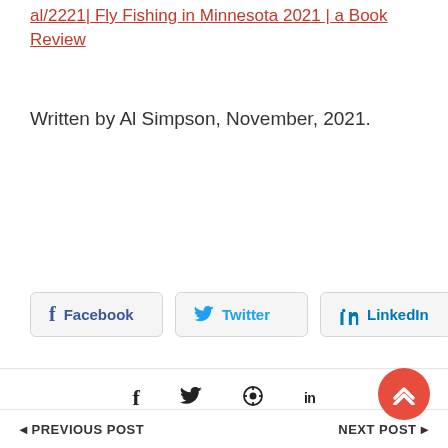… | Fly Fishing in Minnesota 2021 | a Book Review
Written by Al Simpson, November, 2021.
[Figure (other): Social share buttons: Facebook, Twitter, LinkedIn]
[Figure (other): Social media icon bar: Facebook, Twitter, Pinterest, LinkedIn]
[Figure (other): Red circular back-to-top button with chevron icon]
PREVIOUS POST | NEXT POST